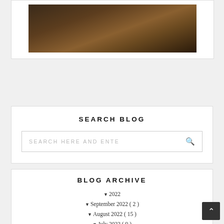[Figure (photo): Outdoor cobblestone path at night or dusk, dark tones with warm brown stones visible]
SEARCH BLOG
SEARCH HERE AND ENTER
BLOG ARCHIVE
2022
September 2022 ( 2 )
August 2022 ( 15 )
July 2022 ( 9 )
June 2022 ( 23 )
May 2022 ( 22 )
Singapore Travel Requirements |